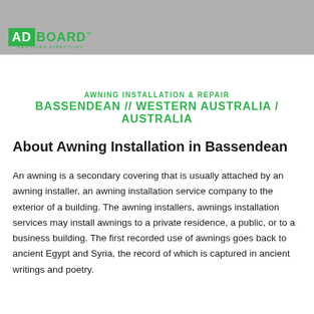ADBOARD™ SERVICES DIRECTORY
AWNING INSTALLATION & REPAIR
BASSENDEAN // WESTERN AUSTRALIA / AUSTRALIA
About Awning Installation in Bassendean
An awning is a secondary covering that is usually attached by an awning installer, an awning installation service company to the exterior of a building. The awning installers, awnings installation services may install awnings to a private residence, a public, or to a business building. The first recorded use of awnings goes back to ancient Egypt and Syria, the record of which is captured in ancient writings and poetry.